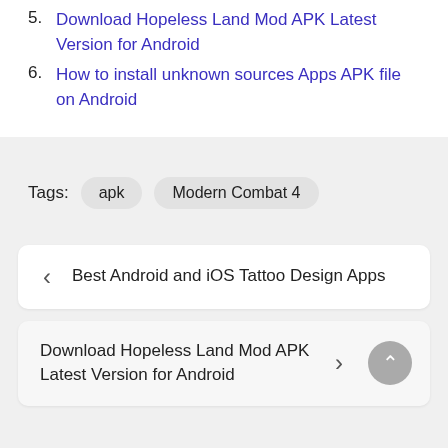5. Download Hopeless Land Mod APK Latest Version for Android
6. How to install unknown sources Apps APK file on Android
Tags: apk  Modern Combat 4
‹ Best Android and iOS Tattoo Design Apps
Download Hopeless Land Mod APK Latest Version for Android ›